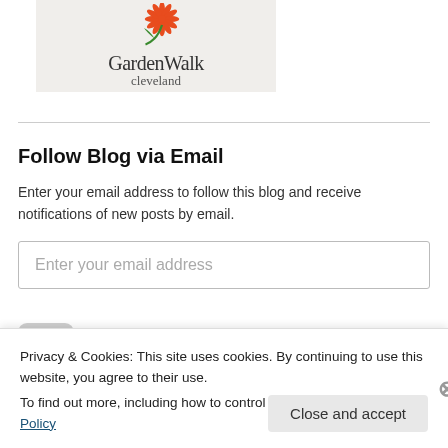[Figure (logo): GardenWalk Cleveland logo with orange sunflower and green stem on light beige background]
Follow Blog via Email
Enter your email address to follow this blog and receive notifications of new posts by email.
Privacy & Cookies: This site uses cookies. By continuing to use this website, you agree to their use.
To find out more, including how to control cookies, see here: Cookie Policy